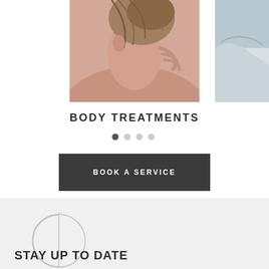[Figure (photo): Close-up photo of a person's neck and shoulder area with hair pulled up, center image in a carousel]
[Figure (photo): Partial photo on the right edge showing a person, cropped]
BODY TREATMENTS
[Figure (other): Carousel navigation dots: 4 dots, first one active (dark), remaining three inactive (light grey)]
BOOK A SERVICE
[Figure (logo): Circular logo with letter C and vertical line, light grey outline on grey background]
STAY UP TO DATE